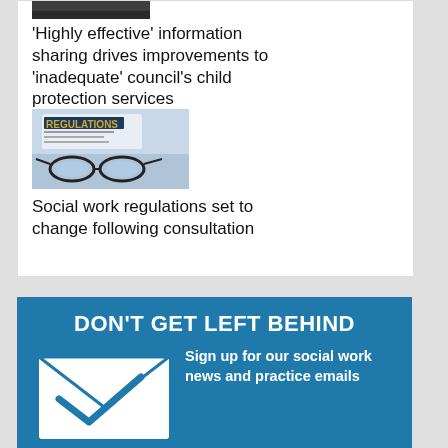[Figure (photo): Dark cropped photo strip at top of article card]
'Highly effective' information sharing drives improvements to 'inadequate' council's child protection services
[Figure (photo): Photo of glasses resting on a document labeled REGULATIONS]
Social work regulations set to change following consultation
[Figure (infographic): Blue banner reading 'DON'T GET LEFT BEHIND' with envelope icon and text 'Sign up for our social work news and practice emails']